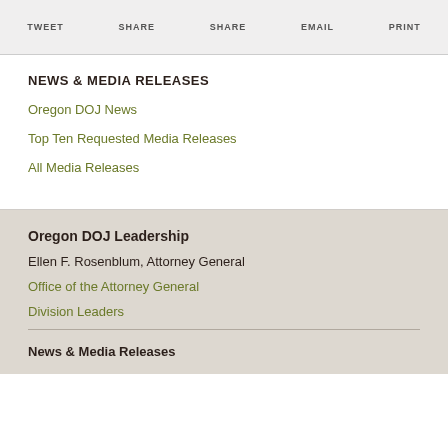TWEET   SHARE   SHARE   EMAIL   PRINT
NEWS & MEDIA RELEASES
Oregon DOJ News
Top Ten Requested Media Releases
All Media Releases
Oregon DOJ Leadership
Ellen F. Rosenblum, Attorney General
Office of the Attorney General
Division Leaders
News & Media Releases